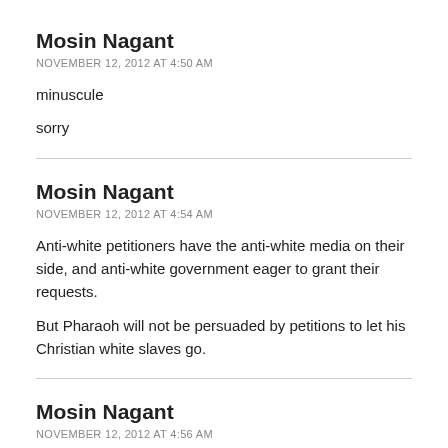Mosin Nagant
NOVEMBER 12, 2012 AT 4:50 AM
minuscule
sorry
Mosin Nagant
NOVEMBER 12, 2012 AT 4:54 AM
Anti-white petitioners have the anti-white media on their side, and anti-white government eager to grant their requests.
But Pharaoh will not be persuaded by petitions to let his Christian white slaves go.
Mosin Nagant
NOVEMBER 12, 2012 AT 4:56 AM